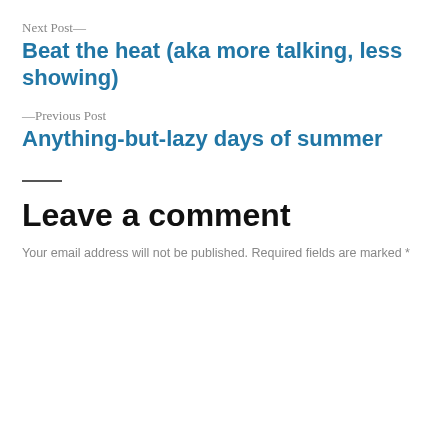Next Post—
Beat the heat (aka more talking, less showing)
—Previous Post
Anything-but-lazy days of summer
Leave a comment
Your email address will not be published. Required fields are marked *